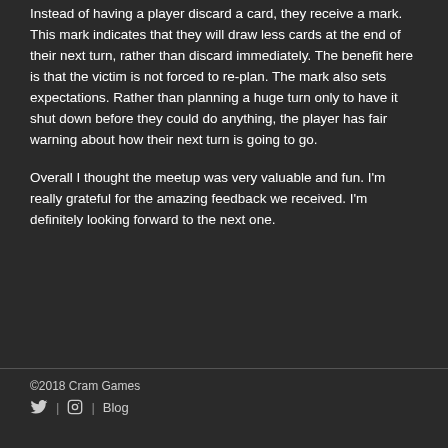Instead of having a player discard a card, they receive a mark. This mark indicates that they will draw less cards at the end of their next turn, rather than discard immediately. The benefit here is that the victim is not forced to re-plan. The mark also sets expectations. Rather than planning a huge turn only to have it shut down before they could do anything, the player has fair warning about how their next turn is going to go.
Overall I thought the meetup was very valuable and fun. I'm really grateful for the amazing feedback we received. I'm definitely looking forward to the next one.
©2018 Cram Games | Blog